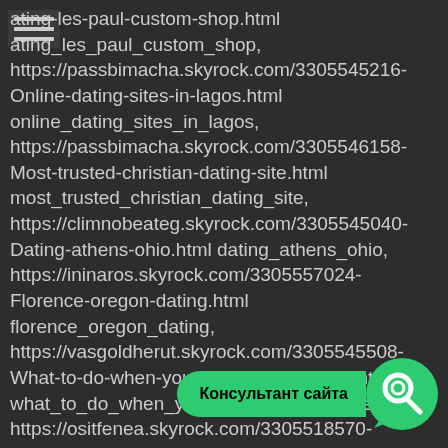ating-les-paul-custom-shop.html ating_les_paul_custom_shop, https://passbimacha.skyrock.com/3305545216-Online-dating-sites-in-lagos.html online_dating_sites_in_lagos, https://passbimacha.skyrock.com/3305546158-Most-trusted-christian-dating-site.html most_trusted_christian_dating_site, https://climnobeateg.skyrock.com/3305545040-Dating-athens-ohio.html dating_athens_ohio, https://ininaros.skyrock.com/3305557024-Florence-oregon-dating.html florence_oregon_dating, https://vasgoldherut.skyrock.com/3305545508-What-to-do-when-youre-dating-someone.html what_to_do_when_youre_dating_someone, https://ositfenea.skyrock.com/3305518570-Astrology-match-making-free-in-tamil.html astrology_match_maki... https://profenacas.skyrock.com/3305553528-Dating-websites-best-headlines.html